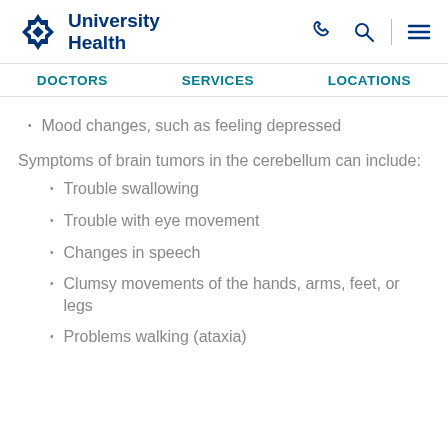University Health
DOCTORS   SERVICES   LOCATIONS
Mood changes, such as feeling depressed
Symptoms of brain tumors in the cerebellum can include:
Trouble swallowing
Trouble with eye movement
Changes in speech
Clumsy movements of the hands, arms, feet, or legs
Problems walking (ataxia)